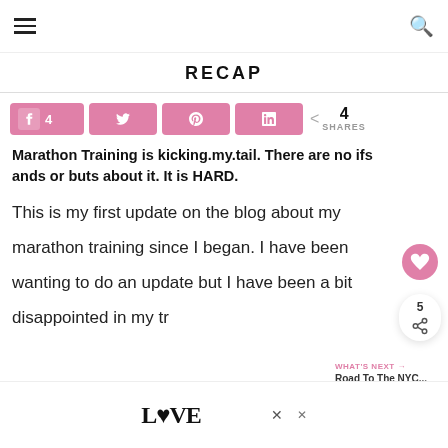☰ [hamburger menu] [search icon]
RECAP
4 SHARES — social share buttons: Facebook (4), Twitter, Pinterest, LinkedIn
Marathon Training is kicking.my.tail. There are no ifs ands or buts about it. It is HARD.
This is my first update on the blog about my marathon training since I began. I have been wanting to do an update but I have been a bit disappointed in my tr...
WHAT'S NEXT → Road To The NYC...
[Figure (other): LOOVE advertisement banner at the bottom of the page with close/dismiss buttons]